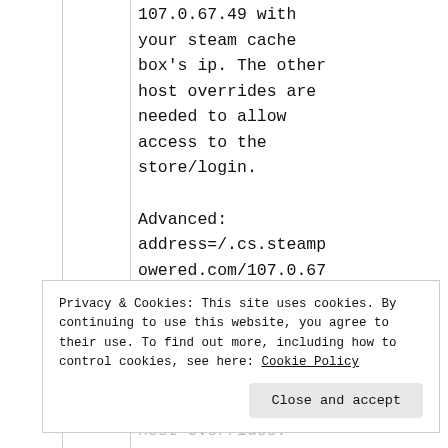107.0.67.49 with your steam cache box's ip. The other host overrides are needed to allow access to the store/login.

Advanced: address=/.cs.steampowered.com/107.0.67
Privacy & Cookies: This site uses cookies. By continuing to use this website, you agree to their use. To find out more, including how to control cookies, see here: Cookie Policy
Close and accept
host overrides: